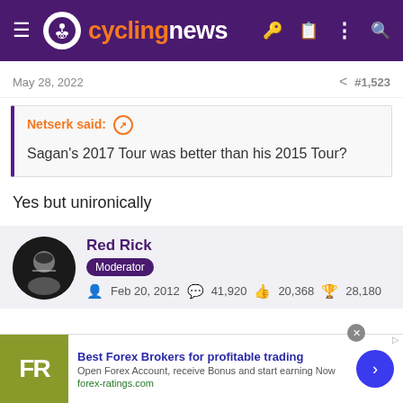cyclingnews
May 28, 2022  #1,523
Netserk said: ↗

Sagan's 2017 Tour was better than his 2015 Tour?
Yes but unironically
Red Rick
Moderator
Feb 20, 2012  41,920  20,368  28,180
[Figure (screenshot): Advertisement banner: Best Forex Brokers for profitable trading. forex-ratings.com]